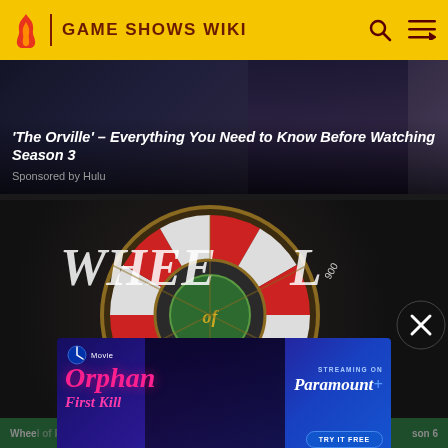GAME SHOWS WIKI
[Figure (screenshot): Article card with dark background: 'The Orville' – Everything You Need to Know Before Watching Season 3, Sponsored by Hulu]
'The Orville' – Everything You Need to Know Before Watching Season 3
Sponsored by Hulu
[Figure (photo): Wheel of Fortune game show wheel close-up with red and white segments]
[Figure (screenshot): Advertisement overlay: Orphan First Kill movie, Streaming on Paramount+, Try It Free]
Whee... Wheel of Fortune ... son 6